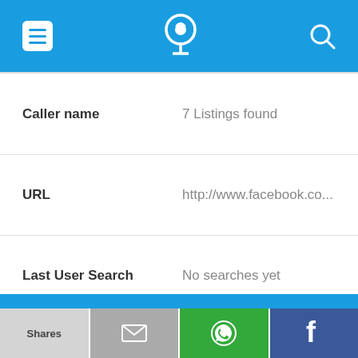[Figure (screenshot): Mobile app top navigation bar with hamburger menu icon, phone/location logo in center, and search icon on right, on blue background]
| Caller name | 7 Listings found |
| URL | http://www.facebook.co... |
| Last User Search | No searches yet |
| Comments |  |
724-841-0531
| Alternate Form | 7248410531 |
[Figure (screenshot): Bottom action bar with four buttons: Shares (light gray), email (dark gray with envelope icon), WhatsApp (green with logo), Facebook (navy with f logo)]